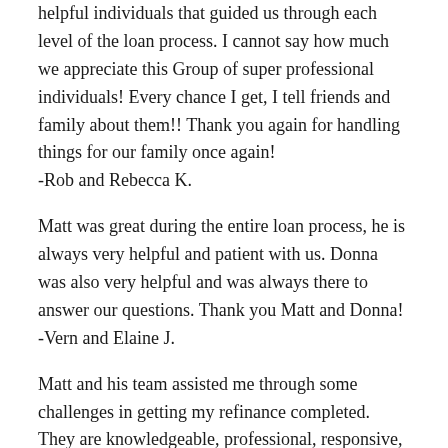helpful individuals that guided us through each level of the loan process. I cannot say how much we appreciate this Group of super professional individuals! Every chance I get, I tell friends and family about them!! Thank you again for handling things for our family once again!
-Rob and Rebecca K.
Matt was great during the entire loan process, he is always very helpful and patient with us. Donna was also very helpful and was always there to answer our questions. Thank you Matt and Donna!
-Vern and Elaine J.
Matt and his team assisted me through some challenges in getting my refinance completed. They are knowledgeable, professional, responsive, and